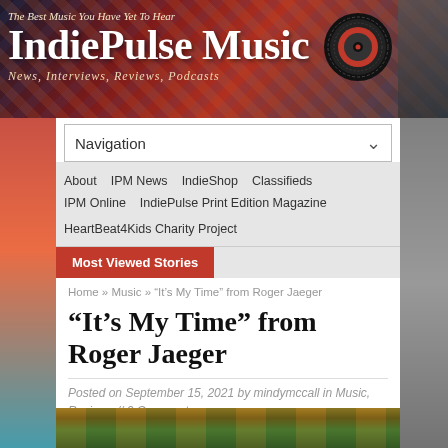The Best Music You Have Yet To Hear — IndiePulse Music — News, Interviews, Reviews, Podcasts
Navigation
About
IPM News
IndieShop
Classifieds
IPM Online
IndiePulse Print Edition Magazine
HeartBeat4Kids Charity Project
Most Viewed Stories
Home » Music » "It's My Time" from Roger Jaeger
“It’s My Time” from Roger Jaeger
Posted on September 15, 2021 by mindymccall in Music, Reviews // 0 Comments
[Figure (photo): Bottom image strip showing outdoor/nature scene]